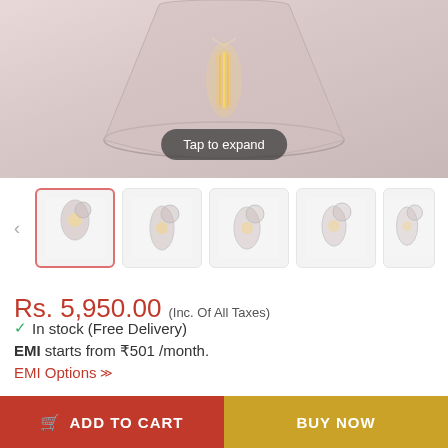[Figure (photo): Product photo of a pendant lamp with glass shade and Edison bulb, with a 'Tap to expand' button overlay. Below are thumbnail images of related product views in a carousel.]
Rs. 5,950.00 (Inc. Of All Taxes)
✓ In stock (Free Delivery)
EMI starts from ₹501 /month.
EMI Options ⌄
Add Installation Service +Rs. 750.00
ADD TO CART
BUY NOW